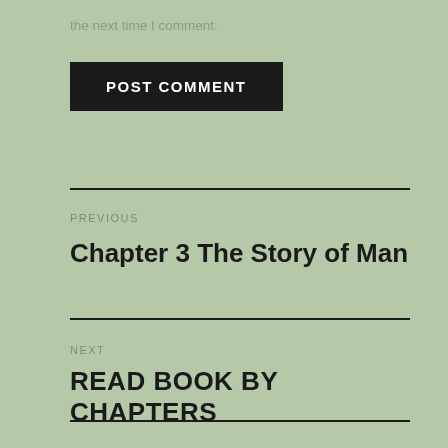the next time I comment.
[Figure (other): Black rectangular POST COMMENT button]
PREVIOUS
Chapter 3 The Story of Man
NEXT
READ BOOK BY CHAPTERS